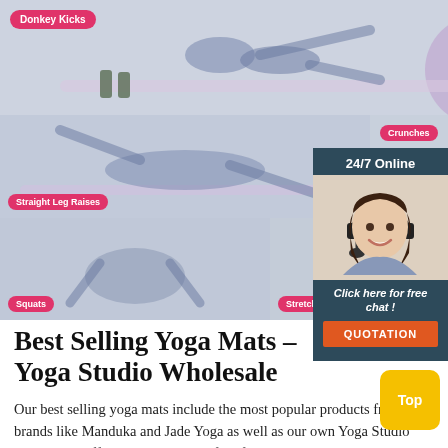[Figure (photo): Fitness exercise collage showing women performing exercises with resistance bands: Donkey Kicks (top row), Straight Leg Raises and Crunches (middle row), Squats, Stretching, and Lunges (bottom row).]
[Figure (photo): 24/7 Online chat widget with a smiling woman wearing a headset, dark blue/teal background, 'Click here for free chat!' text and orange QUOTATION button.]
Best Selling Yoga Mats – Yoga Studio Wholesale
Our best selling yoga mats include the most popular products from brands like Manduka and Jade Yoga as well as our own Yoga Studio mats which offer a great balance of performance and